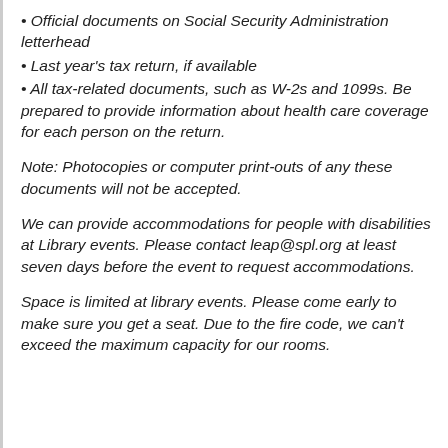• Official documents on Social Security Administration letterhead
• Last year's tax return, if available
• All tax-related documents, such as W-2s and 1099s. Be prepared to provide information about health care coverage for each person on the return.
Note: Photocopies or computer print-outs of any these documents will not be accepted.
We can provide accommodations for people with disabilities at Library events. Please contact leap@spl.org at least seven days before the event to request accommodations.
Space is limited at library events. Please come early to make sure you get a seat. Due to the fire code, we can't exceed the maximum capacity for our rooms.